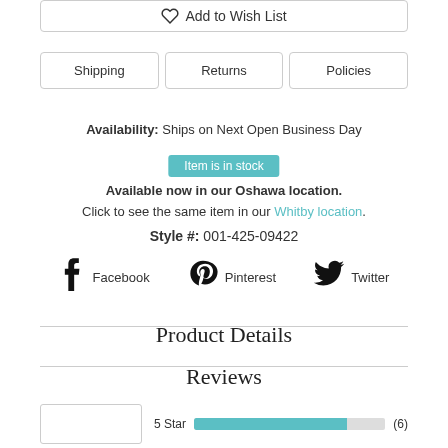Add to Wish List
Shipping | Returns | Policies
Availability: Ships on Next Open Business Day
Item is in stock
Available now in our Oshawa location.
Click to see the same item in our Whitby location.
Style #: 001-425-09422
Facebook  Pinterest  Twitter
Product Details
Reviews
5 Star  (6)